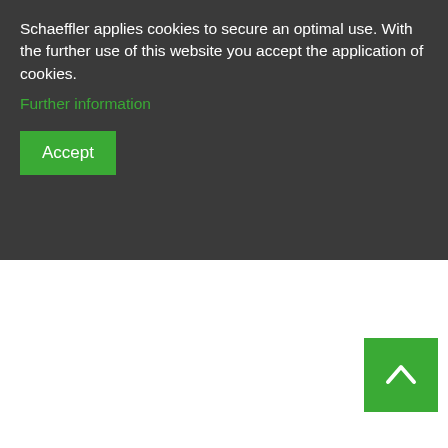Schaeffler applies cookies to secure an optimal use. With the further use of this website you accept the application of cookies.
Further information
Accept
| Code | Range | Description | Brand |
| --- | --- | --- | --- |
|  |  | separable, with cage | FA |
| NUP23..-E | 20 - 220 | main dimensions to DIN 5412-1, locating bearing, separable, with cage | FA |
| NNU41 | 120 - 530 | non-locating bearing, double row, separable, with cage | FA |
|  |  | Main dimensions to DIN5412-1, |  |